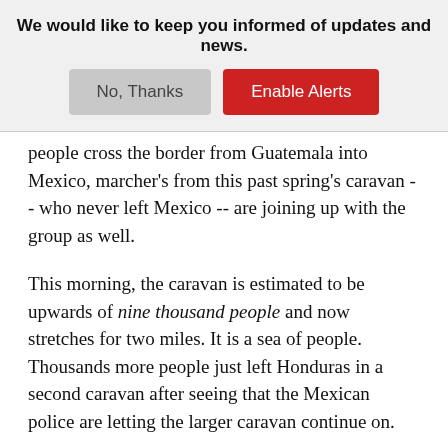We would like to keep you informed of updates and news.
No, Thanks | Enable Alerts
people cross the border from Guatemala into Mexico, marcher's from this past spring's caravan -- who never left Mexico -- are joining up with the group as well.
This morning, the caravan is estimated to be upwards of nine thousand people and now stretches for two miles. It is a sea of people. Thousands more people just left Honduras in a second caravan after seeing that the Mexican police are letting the larger caravan continue on.
The caravan only walks when the cameras are out. That is when they drag out the flags and banners to make a political statement. Then, they hop into busses and into the back of pickup trucks to continue the journey north. If they drive non-stop, they will be here in hours. If they make frequent